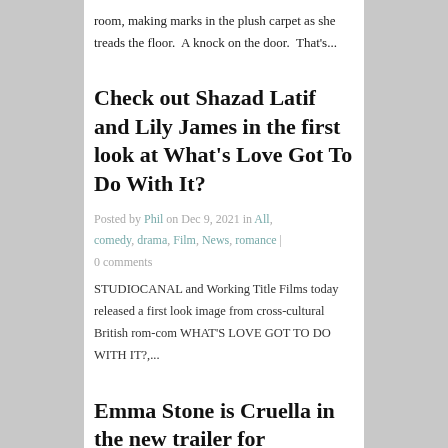room, making marks in the plush carpet as she treads the floor.  A knock on the door.  That's...
Check out Shazad Latif and Lily James in the first look at What's Love Got To Do With It?
Posted by Phil on Dec 9, 2021 in All, comedy, drama, Film, News, romance | 0 comments
STUDIOCANAL and Working Title Films today released a first look image from cross-cultural British rom-com WHAT'S LOVE GOT TO DO WITH IT?,...
Emma Stone is Cruella in the new trailer for